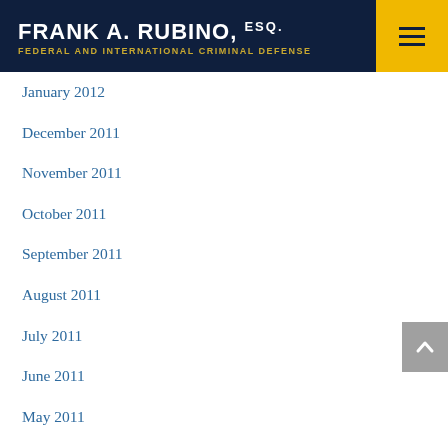FRANK A. RUBINO, ESQ. — FEDERAL AND INTERNATIONAL CRIMINAL DEFENSE
January 2012
December 2011
November 2011
October 2011
September 2011
August 2011
July 2011
June 2011
May 2011
April 2011
March 2011
February 2011